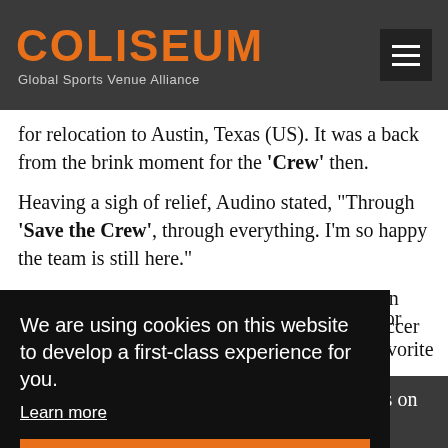COLISEUM — Global Sports Venue Alliance
for relocation to Austin, Texas (US). It was a back from the brink moment for the 'Crew' then.
Heaving a sigh of relief, Audino stated, "Through 'Save the Crew', through everything. I'm so happy the team is still here."
Said 55-year-old Curt Bixel of Upper Arlington (Ohio) as he watched with a grin, "I played soccer growing up ...
We are using cookies on this website to develop a first-class experience for you.
Learn more
Ok
for
avorite
e
ow
that
Continue to follow Coliseum for latest updates on venues